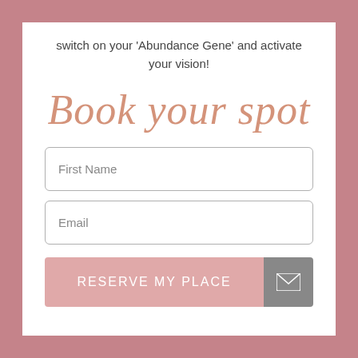switch on your 'Abundance Gene' and activate your vision!
Book your spot
First Name
Email
RESERVE MY PLACE